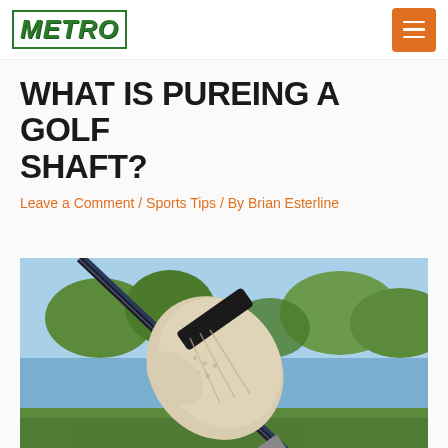Metro
WHAT IS PUREING A GOLF SHAFT?
Leave a Comment / Sports Tips / By Brian Esterline
[Figure (photo): Close-up of a golfer's gloved hand gripping a golf club shaft, with trees and blue sky in the background]